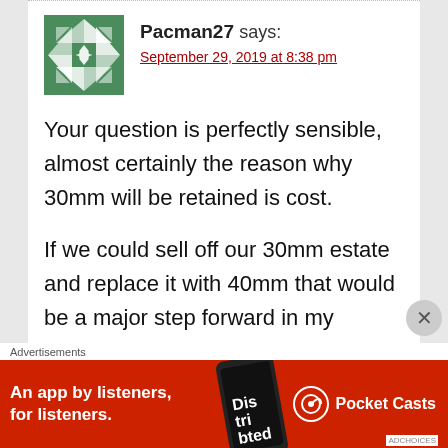[Figure (illustration): Green geometric quilt-pattern avatar for user Pacman27]
Pacman27 says:
September 29, 2019 at 8:38 pm
Your question is perfectly sensible, almost certainly the reason why 30mm will be retained is cost.
If we could sell off our 30mm estate and replace it with 40mm that would be a major step forward in my opinion, as for martlett etc, there are plenty of systems that can provide
Advertisements
[Figure (screenshot): Pocket Casts advertisement banner — red background with text 'An app by listeners, for listeners.' and Pocket Casts logo]